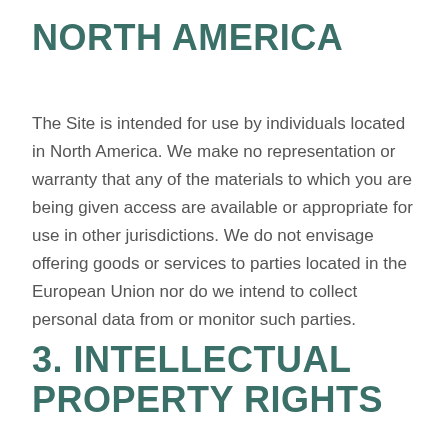NORTH AMERICA
The Site is intended for use by individuals located in North America. We make no representation or warranty that any of the materials to which you are being given access are available or appropriate for use in other jurisdictions. We do not envisage offering goods or services to parties located in the European Union nor do we intend to collect personal data from or monitor such parties.
3. INTELLECTUAL PROPERTY RIGHTS